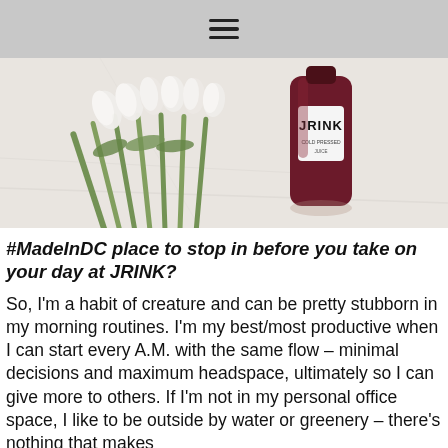≡
[Figure (photo): White tulips lying on a white marble surface next to a dark burgundy JRINK juice bottle with white label text reading JRINK]
#MadeInDC place to stop in before you take on your day at JRINK?
So, I'm a habit of creature and can be pretty stubborn in my morning routines. I'm my best/most productive when I can start every A.M. with the same flow – minimal decisions and maximum headspace, ultimately so I can give more to others. If I'm not in my personal office space, I like to be outside by water or greenery – there's nothing that makes